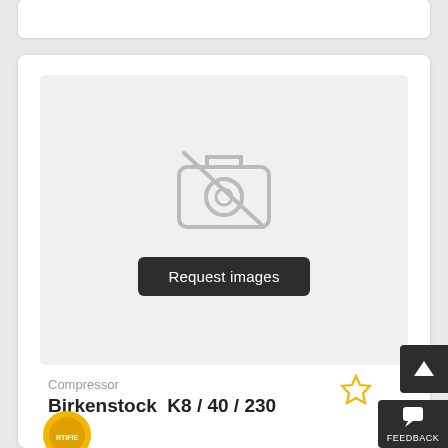[Figure (screenshot): Product listing card with no image available placeholder showing a camera icon with a slash through it and a 'Request images' button]
Compressor
Birkenstock  K8 / 40 / 230
[Figure (logo): Partial gold certification badge at bottom left]
[Figure (other): Star (favorite) icon in outline style, golden color]
[Figure (other): Dark up-arrow scroll button]
[Figure (other): Dark feedback button with speech bubble icon and FEEDBACK label]